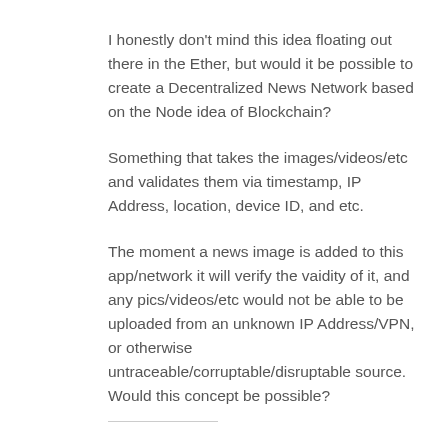I honestly don't mind this idea floating out there in the Ether, but would it be possible to create a Decentralized News Network based on the Node idea of Blockchain?
Something that takes the images/videos/etc and validates them via timestamp, IP Address, location, device ID, and etc.
The moment a news image is added to this app/network it will verify the vaidity of it, and any pics/videos/etc would not be able to be uploaded from an unknown IP Address/VPN, or otherwise untraceable/corruptable/disruptable source. Would this concept be possible?